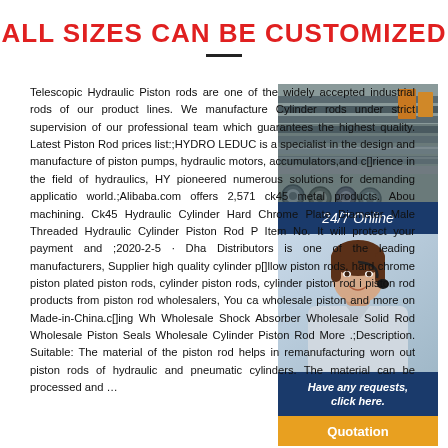ALL SIZES CAN BE CUSTOMIZED
[Figure (photo): Photo of metal hydraulic piston rods/tubes stacked together in a warehouse or storage area]
[Figure (photo): 24/7 Online banner with blue background]
[Figure (photo): Customer service agent (woman with headset) photo with Have any requests, click here. text and Quotation button]
Telescopic Hydraulic Piston rods are one of the widely accepted industrial rods of our product lines. We manufacture Cylinder rods under strict supervision of our professional team which guarantees the highest quality. Latest Piston Rod prices list:;HYDRO LEDUC is a specialist in the design and manufacture of piston pumps, hydraulic motors, accumulators,and c[]rience in the field of hydraulics, HY pioneered numerous solutions for demanding applicatio world.;Alibaba.com offers 2,571 ck45 metal products. Abou machining. Ck45 Hydraulic Cylinder Hard Chrome Plate Diameter Male Threaded Hydraulic Cylinder Piston Rod P Item No. It will protect your payment and ;2020-2-5 · Dha Distributors is one of the leading manufacturers, Supplier high quality cylinder p[]llow piston rods, hard chrome piston plated piston rods, cylinder piston rods, cylinder piston rod i piston rod products from piston rod wholesalers, You ca wholesale piston and more on Made-in-China.c[]ing Wh Wholesale Shock Absorber Wholesale Solid Rod Wholesale Piston Seals Wholesale Cylinder Piston Rod More .;Description. Suitable: The material of the piston rod helps in remanufacturing worn out piston rods of hydraulic and pneumatic cylinders. The material can be processed and …